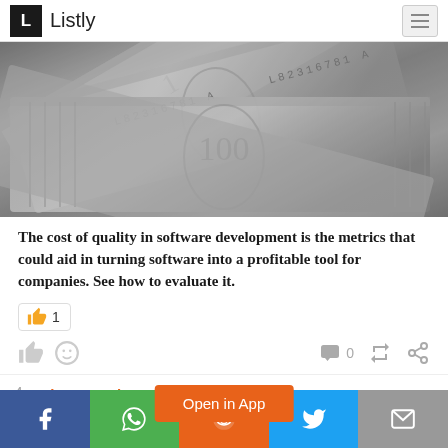Listly
[Figure (photo): Close-up black and white photo of US dollar bills fanned out]
The cost of quality in software development is the metrics that could aid in turning software into a profitable tool for companies. See how to evaluate it.
4  5 Tips: Develop t[...] r Company -
Open in App | Facebook | WhatsApp | Reddit | Twitter | Email